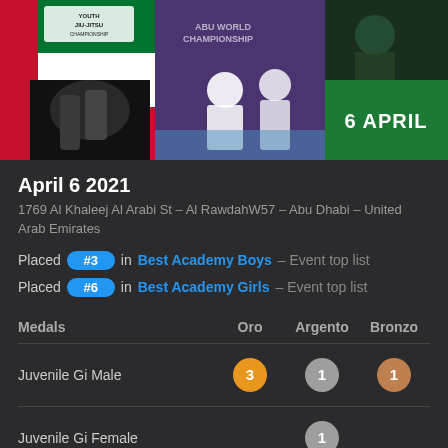[Figure (photo): Collage of jiu-jitsu championship photos including athletes grappling, with a green banner showing '6 APRIL' on the right side]
April 6 2021
1769 Al Khaleej Al Arabi St – Al RawdahW57 – Abu Dhabi – United Arab Emirates
Placed #3 in Best Academy Boys – Event top list
Placed #6 in Best Academy Girls – Event top list
| Medals | Oro | Argento | Bronzo |
| --- | --- | --- | --- |
| Juvenile Gi Male | 3 | 1 | 1 |
| Juvenile Gi Female |  | 1 |  |
| Totale | 3 | 2 | 1 |